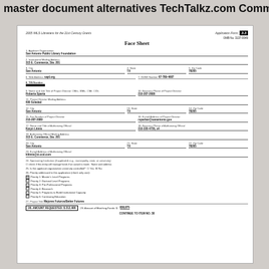master document alternatives TechTalkz.com Commun
Face Sheet
2005 IMLS Librarians for the 21st Century Grants   Application Form: 3.3   OMB No. 3137-0049
1. Applicant Organization
San Antonio Public Library Foundation
2. Institutional Mailing Address
315 E. Commerce, Ste. 201
3. City: San Antonio   4. State: TX   5. Zip Code: 78205
6. Web Address: sapl.org   7. DUNS Number: 67-789-4687
8. TIN Number: [REDACTED]
9. Name and Job Title of Project Director [Mrs. Ms. Mr. Dr.]: Roberta Sparta   10. Business Phone of Project Director: 210-207-2608
11. Project Director Mailing Address: 600 Soledad
12. City: San Antonio   13. State: TX   14. Zip Code: 78205
15. Fax Number of Project Director: 210-287-2080   16. E-mail Address of Project Director: rsparbar@sanantonio.gov
17. Name and Title of Authorizing Official: Karyn Litmis   18. Business Phone of Authorizing Official: 210-220-4735, x4
19. Authorizing Official Mailing Address: 315 E. Commerce, Ste. 201
20. City: San Antonio   21. State: TX   22. Zip Code: 78205
23. E-mail Address of Authorizing Official: klitmis@ci.ccd.com
24. Sponsoring Institution (if applicable e.g., municipality, state, or university): [] check if this entity will manage funds if an award is made. Name and address
25. Is the applicant organization university controlled? [] Yes [x] No
26. Priority addressed in this application (check only one):
[x] Priority 1: Master's Level Programs
[] Priority 2: Doctoral Level Programs
[] Priority 3: Pre-Professional Programs
[] Priority 4: Research
[] Priority 5: Programs to Build Institutional Capacity
[] Priority 6: Continuing Education
27. Project Title: Mejores Futuros/Better Futures
28. AMOUNT REQUESTED: $ 212,408   29. Amount of Matching Funds: $ 838,875
CONTINUE TO ITEM NO. 30